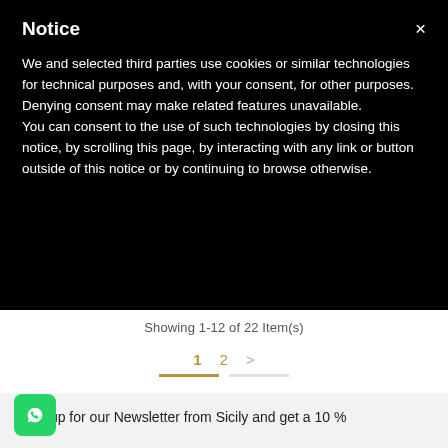Notice
We and selected third parties use cookies or similar technologies for technical purposes and, with your consent, for other purposes. Denying consent may make related features unavailable.
You can consent to the use of such technologies by closing this notice, by scrolling this page, by interacting with any link or button outside of this notice or by continuing to browse otherwise.
Showing 1-12 of 22 Item(s)
1  2  >
Sign up for our Newsletter from Sicily and get a 10 %